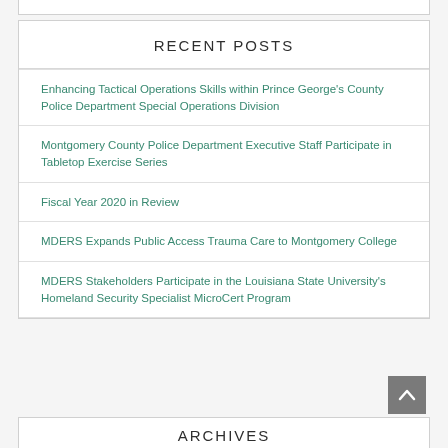RECENT POSTS
Enhancing Tactical Operations Skills within Prince George's County Police Department Special Operations Division
Montgomery County Police Department Executive Staff Participate in Tabletop Exercise Series
Fiscal Year 2020 in Review
MDERS Expands Public Access Trauma Care to Montgomery College
MDERS Stakeholders Participate in the Louisiana State University's Homeland Security Specialist MicroCert Program
ARCHIVES